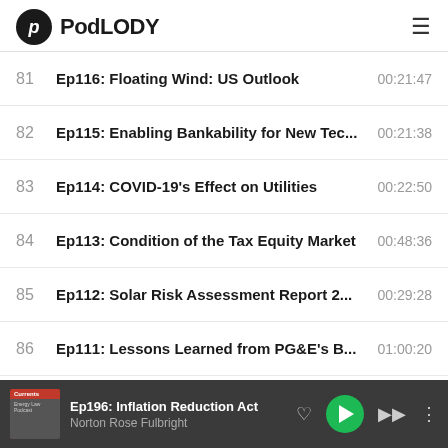PodLODY
81  Ep116: Floating Wind: US Outlook  00:21:47
82  Ep115: Enabling Bankability for New Tec...  00:21:38
83  Ep114: COVID-19's Effect on Utilities  00:22:50
84  Ep113: Condition of the Tax Equity Market  00:48:36
85  Ep112: Solar Risk Assessment Report 2...  00:29:28
86  Ep111: Lessons Learned from PG&E's B...  01:00:20
87  Ep110: Behind-the-Meter Storage  00:23:31
88  Ep109: What's New in the Market  00:39:17
Ep196: Inflation Reduction Act | Norton Rose Fulbright